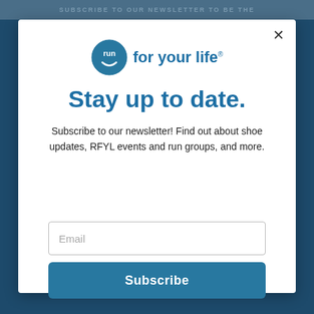[Figure (logo): Run for your life logo — circular blue badge with 'run' text and a smile, next to 'for your life' text]
Stay up to date.
Subscribe to our newsletter! Find out about shoe updates, RFYL events and run groups, and more.
Email
Subscribe